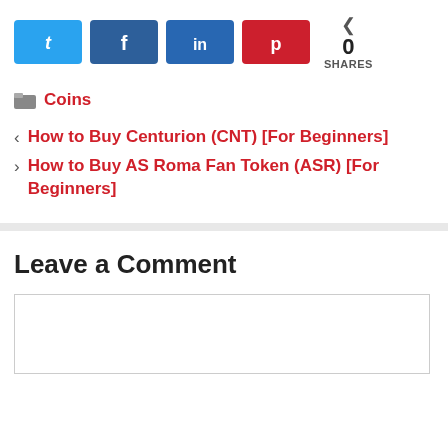[Figure (other): Social share buttons: Twitter (blue), Facebook (dark blue), LinkedIn (blue), Pinterest (red), and share count showing 0 SHARES]
Coins
< How to Buy Centurion (CNT) [For Beginners]
> How to Buy AS Roma Fan Token (ASR) [For Beginners]
Leave a Comment
[Comment text area input field]